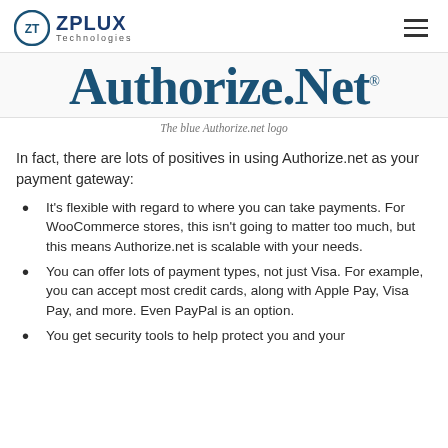ZPLUX Technologies
[Figure (logo): Authorize.Net blue logo with trademark symbol]
The blue Authorize.net logo
In fact, there are lots of positives in using Authorize.net as your payment gateway:
It’s flexible with regard to where you can take payments. For WooCommerce stores, this isn’t going to matter too much, but this means Authorize.net is scalable with your needs.
You can offer lots of payment types, not just Visa. For example, you can accept most credit cards, along with Apple Pay, Visa Pay, and more. Even PayPal is an option.
You get security tools to help protect you and your